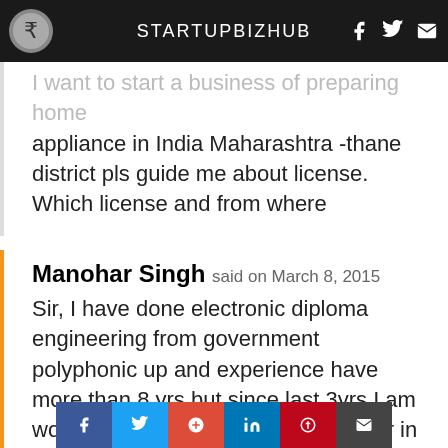STARTUPBIZHUB
I want to start a business of preparing home appliance in India Maharashtra -thane district pls guide me about license. Which license and from where
Manohar Singh said on March 8, 2015
Sir, I have done electronic diploma engineering from government polyphonic up and experience have more than 8 yrs but since last 3yrs I am working as sale and service engineer in mehra eyetech for opticals instruments. I want to start up own business like as optical store or electronic store shop or both. I am more capable to re[ctronic